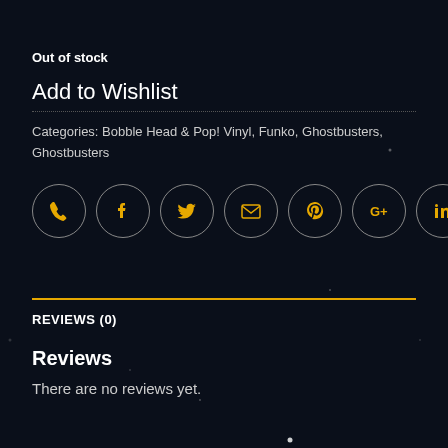Out of stock
Add to Wishlist
Categories: Bobble Head & Pop! Vinyl, Funko, Ghostbusters, Ghostbusters
[Figure (infographic): Row of 7 circular social/contact icon buttons with gold icons on dark background with grey borders: phone, Facebook, Twitter, email, Pinterest, Google+, LinkedIn]
REVIEWS (0)
Reviews
There are no reviews yet.